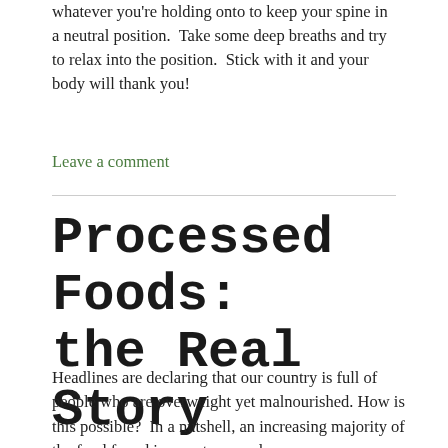whatever you're holding onto to keep your spine in a neutral position.  Take some deep breaths and try to relax into the position.  Stick with it and your body will thank you!
Leave a comment
Processed Foods: the Real Story
Headlines are declaring that our country is full of people who are overweight yet malnourished. How is this possible?  In a nutshell, an increasing majority of the food found in our stores and